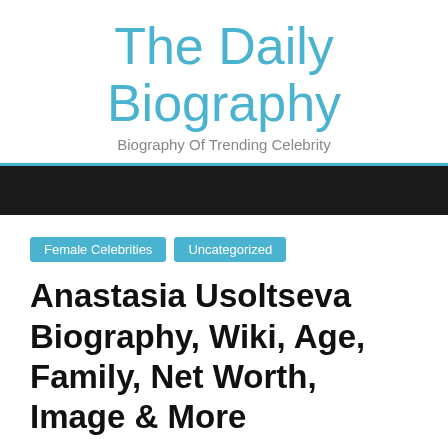The Daily Biography
Biography Of Trending Celebrity
Navigation bar with home, menu, search, and shuffle icons
Female Celebrities   Uncategorized
Anastasia Usoltseva Biography, Wiki, Age, Family, Net Worth, Image & More